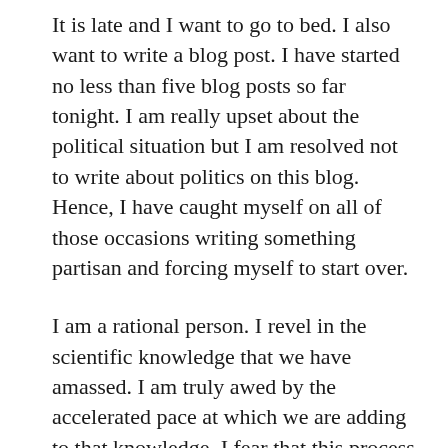It is late and I want to go to bed. I also want to write a blog post. I have started no less than five blog posts so far tonight. I am really upset about the political situation but I am resolved not to write about politics on this blog. Hence, I have caught myself on all of those occasions writing something partisan and forcing myself to start over.
I am a rational person. I revel in the scientific knowledge that we have amassed. I am truly awed by the accelerated pace at which we are adding to that knowledge. I fear that this process will be brought to a halt for no rational reason.